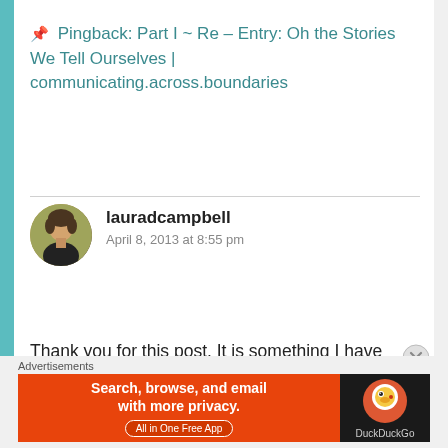🔗 Pingback: Part I ~ Re – Entry: Oh the Stories We Tell Ourselves | communicating.across.boundaries
lauradcampbell
April 8, 2013 at 8:55 pm
Thank you for this post. It is something I have been pondering awhile myself — ATCK's raising TCK's. There are many benefits, I'm sure, as we understand what they are experiencing since we have lived it ourselves. But maybe there are also some drawbacks as we see, raising our own...
[Figure (other): DuckDuckGo advertisement banner: orange left panel with text 'Search, browse, and email with more privacy. All in One Free App', dark right panel with DuckDuckGo logo]